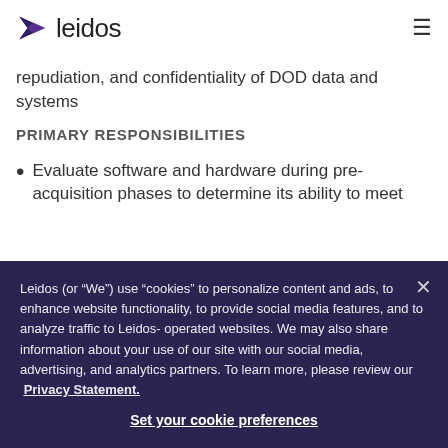leidos
repudiation, and confidentiality of DOD data and systems
PRIMARY RESPONSIBILITIES
Evaluate software and hardware during pre-acquisition phases to determine its ability to meet
Leidos (or “We”) use “cookies” to personalize content and ads, to enhance website functionality, to provide social media features, and to analyze traffic to Leidos-operated websites. We may also share information about your use of our site with our social media, advertising, and analytics partners. To learn more, please review our Privacy Statement.
Set your cookie preferences